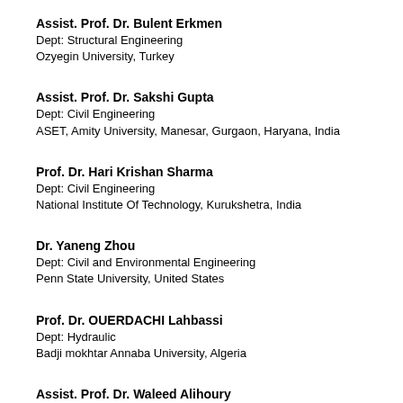Assist. Prof. Dr. Bulent Erkmen
Dept: Structural Engineering
Ozyegin University, Turkey
Assoc. ...
Dept: C...
VIT U...
Assist. Prof. Dr. Sakshi Gupta
Dept: Civil Engineering
ASET, Amity University, Manesar, Gurgaon, Haryana, India
Dr. Sy...
Dept: D...
Lambu...
Prof. Dr. Hari Krishan Sharma
Dept: Civil Engineering
National Institute Of Technology, Kurukshetra, India
Prof. D...
Dept: C...
NITTT...
Dr. Yaneng Zhou
Dept: Civil and Environmental Engineering
Penn State University, United States
Assoc. ...
Dept: D...
Sultan ...
Prof. Dr. OUERDACHI Lahbassi
Dept: Hydraulic
Badji mokhtar Annaba University, Algeria
Assist. ...
Dept: C...
Sultan ...
Assist. Prof. Dr. Waleed Alihoury
Prof. ...